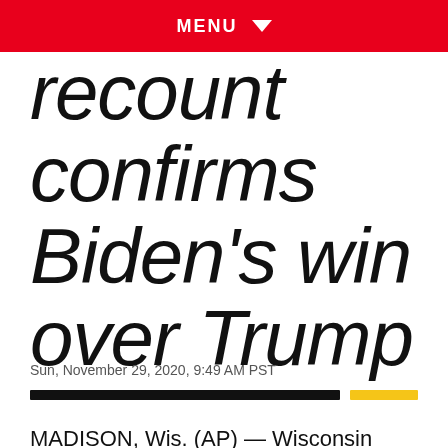MENU
recount confirms Biden's win over Trump
Sun, November 29, 2020, 9:49 AM PST
MADISON, Wis. (AP) — Wisconsin finished a recount of its presidential results on